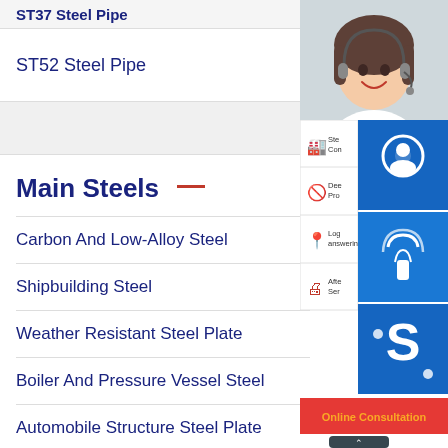ST37 Steel Pipe (truncated, top)
ST52 Steel Pipe
Main Steels
Carbon And Low-Alloy Steel
Shipbuilding Steel
Weather Resistant Steel Plate
Boiler And Pressure Vessel Steel
Automobile Structure Steel Plate
[Figure (photo): Customer service representative wearing a headset, smiling]
[Figure (infographic): Right sidebar with blue icon buttons for headset/customer support, phone/call icon, Skype icon; service list items for Steel Condition, Deep Processing, Logistics/answering, After Service; and an Online Consultation bar in red/orange]